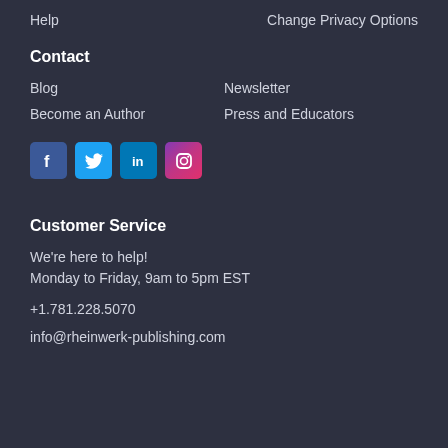Help
Change Privacy Options
Contact
Blog
Newsletter
Become an Author
Press and Educators
[Figure (illustration): Social media icons: Facebook, Twitter, LinkedIn, Instagram]
Customer Service
We're here to help!
Monday to Friday, 9am to 5pm EST
+1.781.228.5070
info@rheinwerk-publishing.com